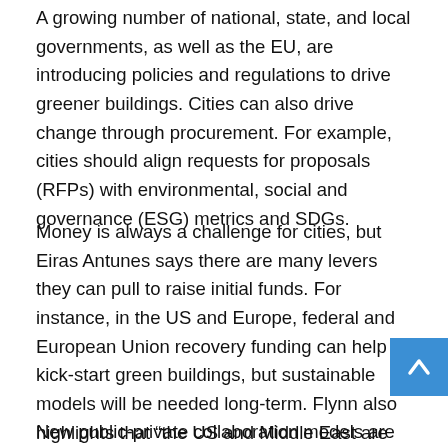A growing number of national, state, and local governments, as well as the EU, are introducing policies and regulations to drive greener buildings. Cities can also drive change through procurement. For example, cities should align requests for proposals (RFPs) with environmental, social and governance (ESG) metrics and SDGs.
Money is always a challenge for cities, but Eiras Antunes says there are many levers they can pull to raise initial funds. For instance, in the US and Europe, federal and European Union recovery funding can help kick-start green buildings, but sustainable models will be needed long-term. Flynn also highlights that “the US and Middle East are growth markets in these key areas, both having a huge potential for implementing projects related to infrastructure, transport, and environment, and climate.”
New public-private collaboration models are emerging